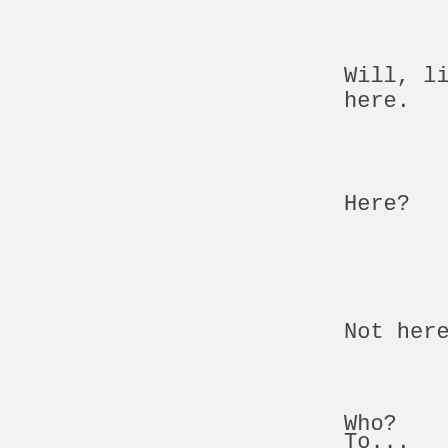Will, li
here.
Here?
Not here
Who?
To...